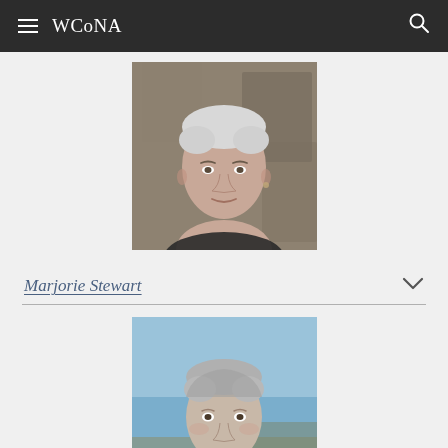WCoNA
[Figure (photo): Portrait photo of a woman with very short grey/white hair, looking directly at camera, outdoors in front of rocky background]
Marjorie Stewart
[Figure (photo): Portrait photo of a middle-aged man with grey hair, slight smile, outdoors with blue sky and rocky seascape in background]